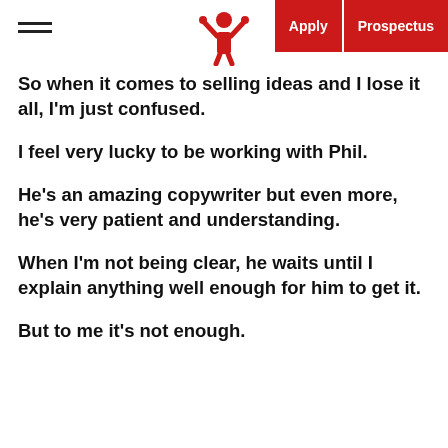Apply | Prospectus
So when it comes to selling ideas and I lose it all, I'm just confused.
I feel very lucky to be working with Phil.
He's an amazing copywriter but even more, he's very patient and understanding.
When I'm not being clear, he waits until I explain anything well enough for him to get it.
But to me it's not enough.